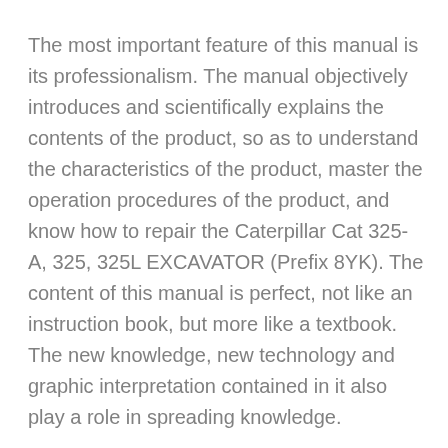The most important feature of this manual is its professionalism. The manual objectively introduces and scientifically explains the contents of the product, so as to understand the characteristics of the product, master the operation procedures of the product, and know how to repair the Caterpillar Cat 325-A, 325, 325L EXCAVATOR (Prefix 8YK). The content of this manual is perfect, not like an instruction book, but more like a textbook. The new knowledge, new technology and graphic interpretation contained in it also play a role in spreading knowledge.